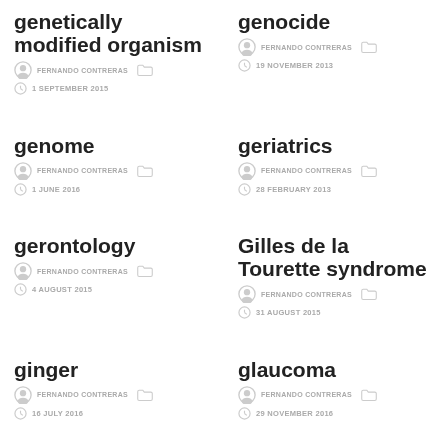genetically modified organism
FERNANDO CONTRERAS  1 SEPTEMBER 2015
genocide
FERNANDO CONTRERAS  19 NOVEMBER 2013
genome
FERNANDO CONTRERAS  1 JUNE 2016
geriatrics
FERNANDO CONTRERAS  28 FEBRUARY 2013
gerontology
FERNANDO CONTRERAS  4 AUGUST 2015
Gilles de la Tourette syndrome
FERNANDO CONTRERAS  31 AUGUST 2015
ginger
FERNANDO CONTRERAS  16 JULY 2016
glaucoma
FERNANDO CONTRERAS  29 NOVEMBER 2016